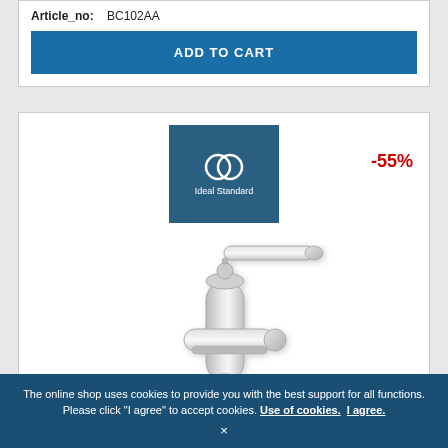Article_no: BC102AA
ADD TO CART
[Figure (photo): Ideal Standard brand logo on blue square background, with chrome bathroom basin mixer tap/faucet product photo. Discount badge showing -55% in red.]
The online shop uses cookies to provide you with the best support for all functions. Please click "I agree" to accept cookies. Use of cookies. I agree. ×